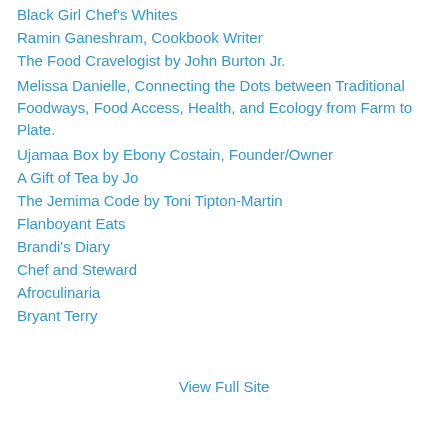Black Girl Chef's Whites
Ramin Ganeshram, Cookbook Writer
The Food Cravelogist by John Burton Jr.
Melissa Danielle, Connecting the Dots between Traditional Foodways, Food Access, Health, and Ecology from Farm to Plate.
Ujamaa Box by Ebony Costain, Founder/Owner
A Gift of Tea by Jo
The Jemima Code by Toni Tipton-Martin
Flanboyant Eats
Brandi's Diary
Chef and Steward
Afroculinaria
Bryant Terry
View Full Site